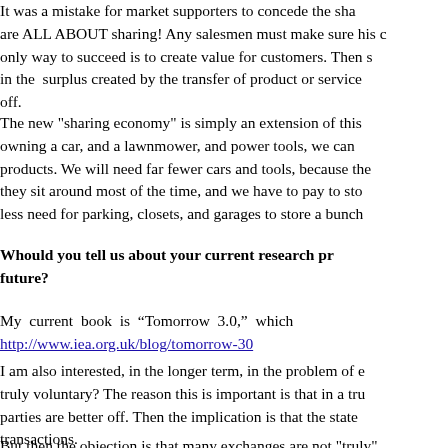It was a mistake for market supporters to concede the sha... are ALL ABOUT sharing! Any salesmen must make sure his c... only way to succeed is to create value for customers. Then s... in the surplus created by the transfer of product or service... off.
The new "sharing economy" is simply an extension of this... owning a car, and a lawnmower, and power tools, we can... products. We will need far fewer cars and tools, because the... they sit around most of the time, and we have to pay to sto... less need for parking, closets, and garages to store a bunch...
Whould you tell us about your current research pr... future?
My current book is "Tomorrow 3.0," which... http://www.iea.org.uk/blog/tomorrow-30
I am also interested, in the longer term, in the problem of e... truly voluntary? The reason this is important is that in a tru... parties are better off. Then the implication is that the state... transactions.
But then the objection is that many exchanges are not "truly"... new analytical concept "Euvoluntary exchanges." The Gre...